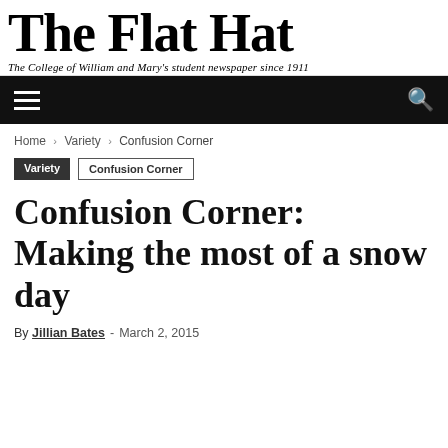THE FLAT HAT
The College of William and Mary's student newspaper since 1911
Home › Variety › Confusion Corner
Variety  Confusion Corner
Confusion Corner: Making the most of a snow day
By Jillian Bates - March 2, 2015